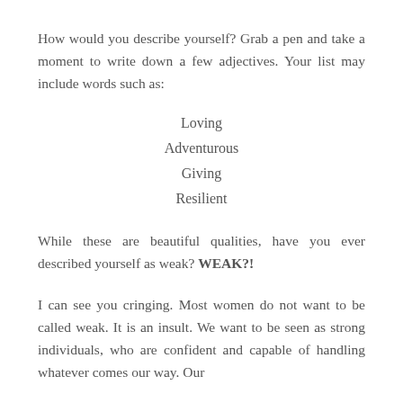How would you describe yourself? Grab a pen and take a moment to write down a few adjectives. Your list may include words such as:
Loving
Adventurous
Giving
Resilient
While these are beautiful qualities, have you ever described yourself as weak? WEAK?!
I can see you cringing. Most women do not want to be called weak. It is an insult. We want to be seen as strong individuals, who are confident and capable of handling whatever comes our way. Our